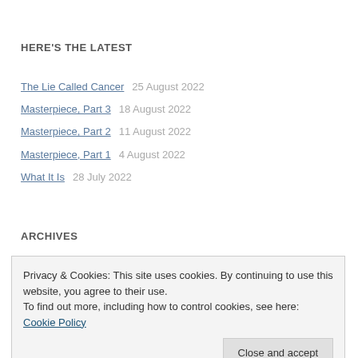HERE'S THE LATEST
The Lie Called Cancer   25 August 2022
Masterpiece, Part 3   18 August 2022
Masterpiece, Part 2   11 August 2022
Masterpiece, Part 1   4 August 2022
What It Is   28 July 2022
ARCHIVES
Privacy & Cookies: This site uses cookies. By continuing to use this website, you agree to their use. To find out more, including how to control cookies, see here: Cookie Policy
Close and accept